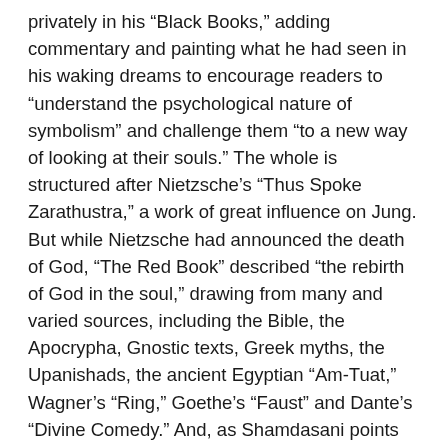privately in his “Black Books,” adding commentary and painting what he had seen in his waking dreams to encourage readers to “understand the psychological nature of symbolism” and challenge them “to a new way of looking at their souls.” The whole is structured after Nietzsche’s “Thus Spoke Zarathustra,” a work of great influence on Jung. But while Nietzsche had announced the death of God, “The Red Book” described “the rebirth of God in the soul,” drawing from many and varied sources, including the Bible, the Apocrypha, Gnostic texts, Greek myths, the Upanishads, the ancient Egyptian “Am-Tuat,” Wagner’s “Ring,” Goethe’s “Faust” and Dante’s “Divine Comedy.” And, as Shamdasani points out, although the writers on whom Jung drew “could utilize an established cosmology, ‘Liber Novus’ is an attempt to shape an individual cosmology.” Jung continued to practice while working on “The Red Book” and encouraged his analysands to summon and record their own visions, as he had done. The